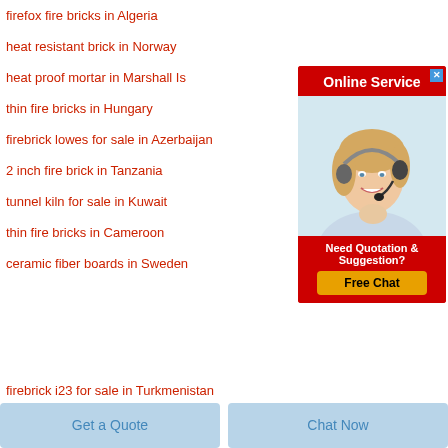firefox fire bricks in Algeria
heat resistant brick in Norway
heat proof mortar in Marshall Is
thin fire bricks in Hungary
firebrick lowes for sale in Azerbaijan
2 inch fire brick in Tanzania
tunnel kiln for sale in Kuwait
thin fire bricks in Cameroon
ceramic fiber boards in Sweden
firebrick i23 for sale in Turkmenistan
[Figure (other): Online Service advertisement widget with a smiling blonde woman wearing a headset, red background header saying Online Service, and a Free Chat button with text Need Quotation & Suggestion?]
Get a Quote
Chat Now